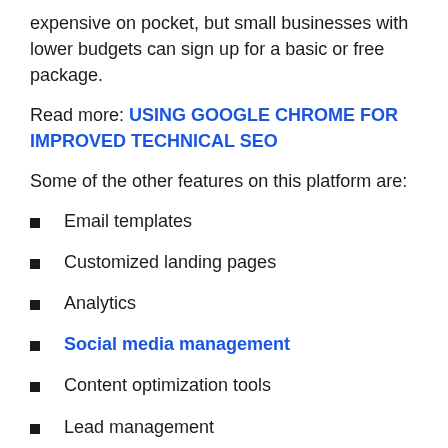expensive on pocket, but small businesses with lower budgets can sign up for a basic or free package.
Read more: USING GOOGLE CHROME FOR IMPROVED TECHNICAL SEO
Some of the other features on this platform are:
Email templates
Customized landing pages
Analytics
Social media management
Content optimization tools
Lead management
Marketing automation
2. Google Analytics